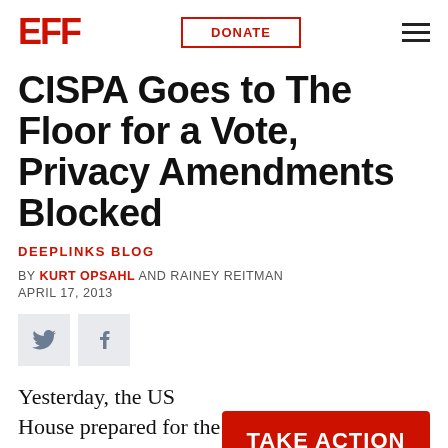EFF | DONATE | menu
CISPA Goes to The Floor for a Vote, Privacy Amendments Blocked
DEEPLINKS BLOG
BY KURT OPSAHL AND RAINEY REITMAN
APRIL 17, 2013
[Figure (other): Twitter and Facebook social share icon buttons]
Yesterday, the US House prepared for the debate on the privacy-invading
[Figure (other): Red button reading TAKE ACTION]